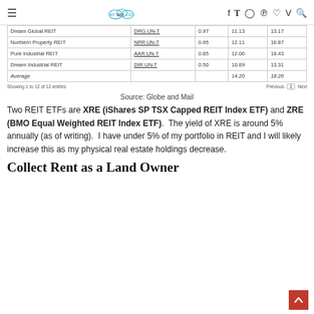MySkyList navigation header
|  |  |  |  |  |
| --- | --- | --- | --- | --- |
| Dream Global REIT | DRG.UN-T | 0.97 | 11.13 | 13.17 |
| Northern Property REIT | NPR.UN-T | 0.95 | 12.11 | 16.87 |
| Pure Industrial REIT | AAR.UN-T | 0.85 | 12.06 | 18.43 |
| Dream Industrial REIT | DIR.UN-T | 0.50 | 10.89 | 13.31 |
| Average |  |  | 14.20 | 18.26 |
Source: Globe and Mail
Two REIT ETFs are XRE (iShares SP TSX Capped REIT Index ETF) and ZRE (BMO Equal Weighted REIT Index ETF).  The yield of XRE is around 5% annually (as of writing).  I have under 5% of my portfolio in REIT and I will likely increase this as my physical real estate holdings decrease.
Collect Rent as a Land Owner